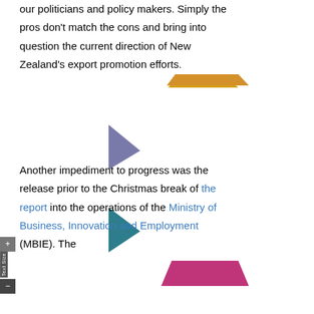our politicians and policy makers. Simply the pros don't match the cons and bring into question the current direction of New Zealand's export promotion efforts.
Another impediment to progress was the release prior to the Christmas break of the report into the operations of the Ministry of Business, Innovation and Employment (MBIE). The
[Figure (illustration): Decorative geometric shapes: a gold/yellow trapezoid at top right, a muted purple/blue triangle pointing right in middle left area, a teal/dark cyan triangle pointing right below the purple one, and a magenta/pink trapezoid at bottom right.]